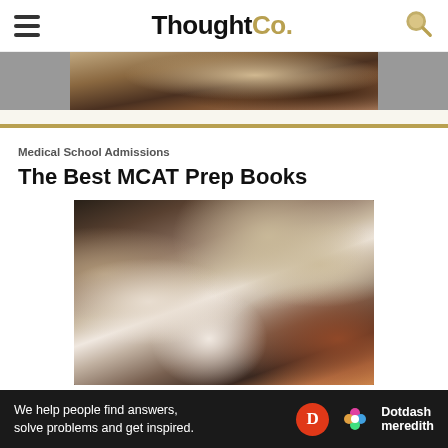ThoughtCo.
[Figure (photo): Partial view of a person reading/studying, cropped header image]
[Figure (photo): Students studying with open books, viewed from above. A person in a black top is visible along with open notebooks and papers on a patterned rug.]
Medical School Admissions
The Best MCAT Prep Books
Ad
We help people find answers, solve problems and get inspired.
[Figure (logo): Dotdash Meredith logo with red circle D and colorful flower icon]